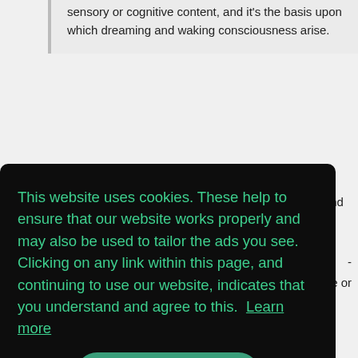sensory or cognitive content, and it's the basis upon which dreaming and waking consciousness arise.
I agree with dlorde's comment about cherry picking comparisons between ancient areas of knowledge and science.
This website uses cookies. These help to ensure that our website works properly and may also be used to tailor the ads you see. Clicking on any link within this page, and continuing to use our website, indicates that you understand and agree to this. Learn more
Got it!
But as far as simply describing the experience of sleep